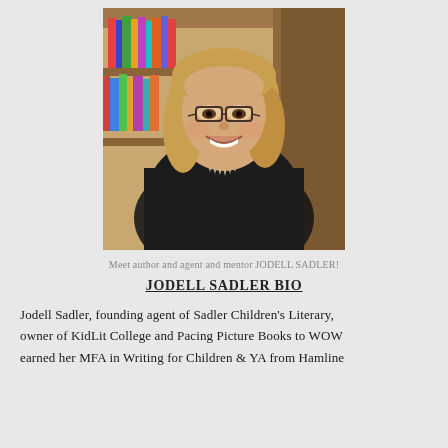[Figure (photo): A smiling woman with shoulder-length blonde hair wearing glasses and a black top with a statement necklace, seated in front of a library bookshelf filled with colorful books.]
Meet author and agent and mentor JODELL SADLER!
JODELL SADLER BIO
Jodell Sadler, founding agent of Sadler Children's Literary, owner of KidLit College and Pacing Picture Books to WOW earned her MFA in Writing for Children & YA from Hamline